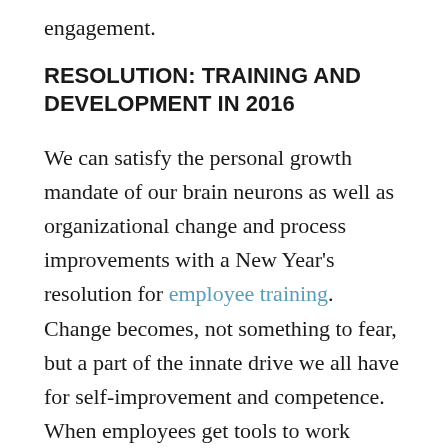engagement.
RESOLUTION: TRAINING AND DEVELOPMENT IN 2016
We can satisfy the personal growth mandate of our brain neurons as well as organizational change and process improvements with a New Year's resolution for employee training. Change becomes, not something to fear, but a part of the innate drive we all have for self-improvement and competence. When employees get tools to work smarter, manage interruptions, eliminate overwhelm, and control stress, as they do in my Work-Life Balance, Stress Management, Information Management, and Management Success: Motivation for the...